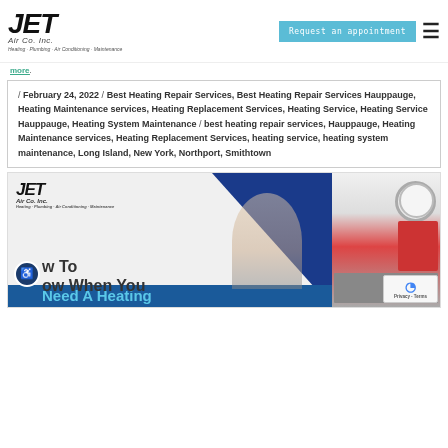JET Air Co. Inc. | Request an appointment
more.
/ February 24, 2022 / Best Heating Repair Services, Best Heating Repair Services Hauppauge, Heating Maintenance services, Heating Replacement Services, Heating Service, Heating Service Hauppauge, Heating System Maintenance / best heating repair services, Hauppauge, Heating Maintenance services, Heating Replacement Services, heating service, heating system maintenance, Long Island, New York, Northport, Smithtown
[Figure (screenshot): JET Air Co. Inc. promotional image with logo, blue triangle design, technician working on heating system, and overlaid text 'How To Know When You Need A Heating']